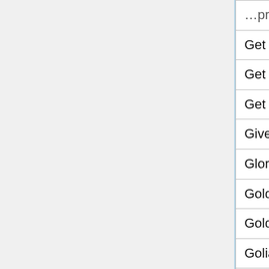| Game Title | Col2 | Col3 |
| --- | --- | --- |
| Get Out | N/A | N |
| Get Out 2 | N/A | N |
| Get Set Boogie | N/A | N |
| Give Up 2 | N/A | N |
| Glory Hole RPG | N/A | N |
| Goldburger To Go | N/A | N |
| Golden Trails: The New Western Rush | N/A | N |
| Goliath The Soothsayer | N/A | N |
| Gunbridge | N/A | N |
| Hawthorne Medicine Match-Up | N/A | N |
| HogBusters: Training Camp | N/A | N |
| Hoshi Saga 10: Minnano 2 | N/A | N |
| Hoshi Saga 11 - Hoshisaga | N/A | N |